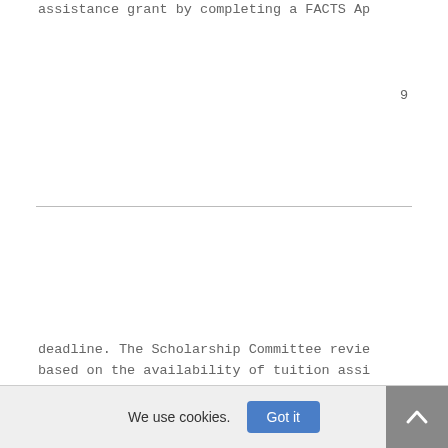assistance grant by completing a FACTS Ap
9
deadline. The Scholarship Committee revie based on the availability of tuition assi as soon as possible of the assistance the availability of funds and ranking of need Not all applicants receive assistance.
Multiple Child Allowance (K-12) is a redu CCS. The reductions are $150 for the seco child, $550 for the fourth child, $850 fo
Other discounts or tuitions include D f